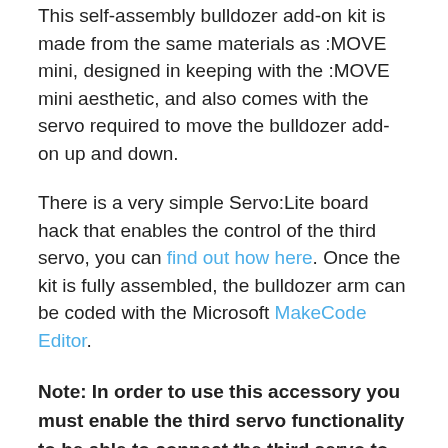This self-assembly bulldozer add-on kit is made from the same materials as :MOVE mini, designed in keeping with the :MOVE mini aesthetic, and also comes with the servo required to move the bulldozer add-on up and down.
There is a very simple Servo:Lite board hack that enables the control of the third servo, you can find out how here. Once the kit is fully assembled, the bulldozer arm can be coded with the Microsoft MakeCode Editor.
Note: In order to use this accessory you must enable the third servo functionality to be able to connect the third servo to the Servo:Lite board, some soldering is required in order to do this. The header pins required for this are supplied with this